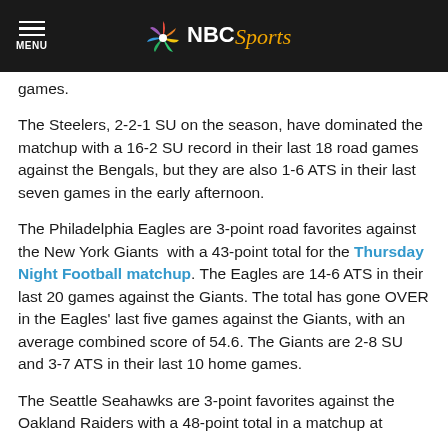NBC Sports
games.
The Steelers, 2-2-1 SU on the season, have dominated the matchup with a 16-2 SU record in their last 18 road games against the Bengals, but they are also 1-6 ATS in their last seven games in the early afternoon.
The Philadelphia Eagles are 3-point road favorites against the New York Giants  with a 43-point total for the Thursday Night Football matchup. The Eagles are 14-6 ATS in their last 20 games against the Giants. The total has gone OVER in the Eagles' last five games against the Giants, with an average combined score of 54.6. The Giants are 2-8 SU and 3-7 ATS in their last 10 home games.
The Seattle Seahawks are 3-point favorites against the Oakland Raiders with a 48-point total in a matchup at Wembley Stadium in London. The Seahawks also will